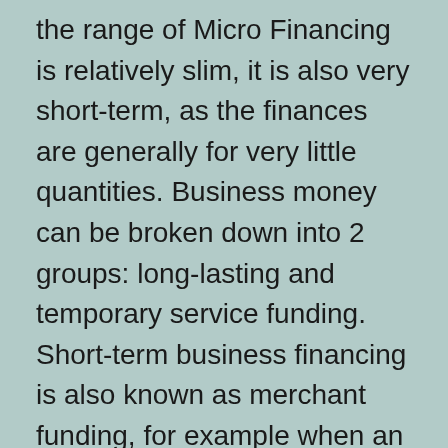the range of Micro Financing is relatively slim, it is also very short-term, as the finances are generally for very little quantities. Business money can be broken down into 2 groups: long-lasting and temporary service funding. Short-term business financing is also known as merchant funding, for example when an organization approves bank card settlements to buy items from the shop.
Another vital sort of financing is equity financing, which is gotten by marketing a part of the business to a financial institution in return for obtaining a line of credit. Generally,